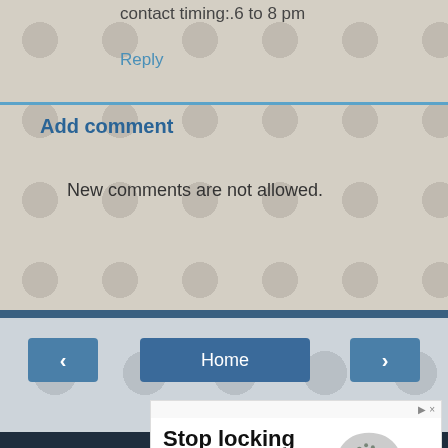contact timing:.6 to 8 pm
Reply
Add comment
New comments are not allowed.
< Home >
View web version
[Figure (infographic): Advertisement banner with text 'Stop locking up value! Be a leader in data monetization.' and an image of a padlock made of people/crowd on the right side.]